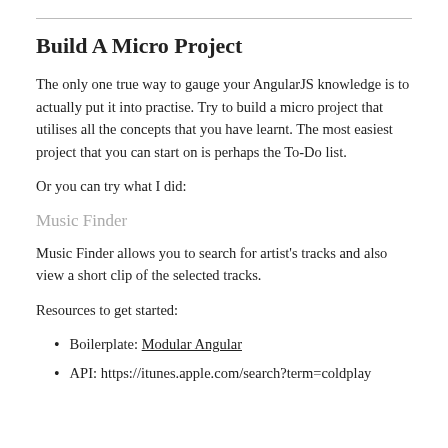Build A Micro Project
The only one true way to gauge your AngularJS knowledge is to actually put it into practise. Try to build a micro project that utilises all the concepts that you have learnt. The most easiest project that you can start on is perhaps the To-Do list.
Or you can try what I did:
Music Finder
Music Finder allows you to search for artist's tracks and also view a short clip of the selected tracks.
Resources to get started:
Boilerplate: Modular Angular
API: https://itunes.apple.com/search?term=coldplay